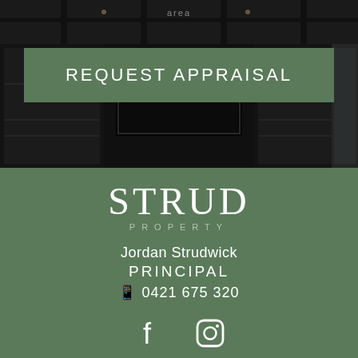[Figure (photo): Darkened interior room photo showing built-in shelving, TV unit, and ceiling details]
area
REQUEST APPRAISAL
[Figure (logo): STRUD PROPERTY logo in white on green background]
Jordan Strudwick
PRINCIPAL
📱 0421 675 320
[Figure (infographic): Facebook and Instagram social media icons in white]